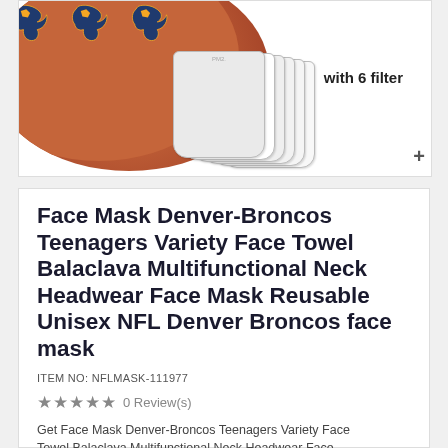[Figure (photo): Product image showing a Denver Broncos face mask with orange background and team logos, alongside 6 PM2.5 filter inserts with text 'with 6 filter' and a plus sign]
Face Mask Denver-Broncos Teenagers Variety Face Towel Balaclava Multifunctional Neck Headwear Face Mask Reusable Unisex NFL Denver Broncos face mask
ITEM NO: NFLMASK-111977
★★★★★ 0 Review(s)
Get Face Mask Denver-Broncos Teenagers Variety Face Towel Balaclava Multifunctional Neck Headwear Face